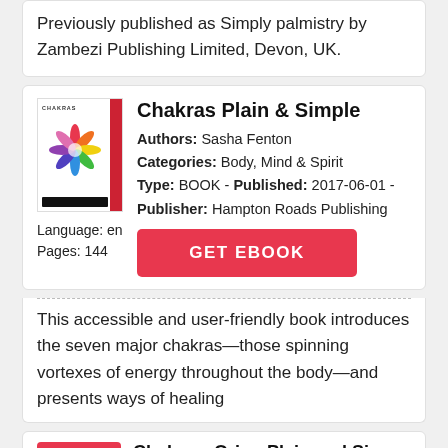Previously published as Simply palmistry by Zambezi Publishing Limited, Devon, UK.
[Figure (illustration): Book cover for Chakras Plain & Simple showing a colorful mandala/lotus flower design with a red spine and the text CHAKRAS at the top]
Chakras Plain & Simple
Authors: Sasha Fenton
Categories: Body, Mind & Spirit
Type: BOOK - Published: 2017-06-01 -
Publisher: Hampton Roads Publishing
Language: en
Pages: 144
This accessible and user-friendly book introduces the seven major chakras—those spinning vortexes of energy throughout the body—and presents ways of healing
Chakras, Orion Plain and Simp